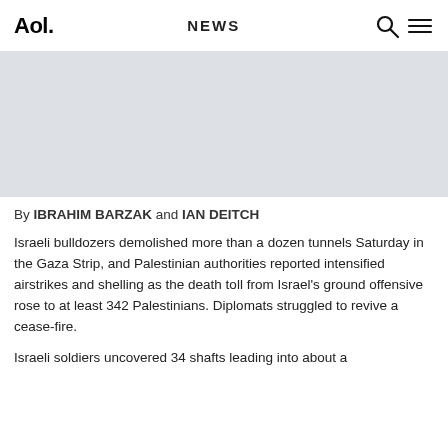Aol. NEWS
[Figure (photo): Gray placeholder image area for news article photo]
By IBRAHIM BARZAK and IAN DEITCH
Israeli bulldozers demolished more than a dozen tunnels Saturday in the Gaza Strip, and Palestinian authorities reported intensified airstrikes and shelling as the death toll from Israel's ground offensive rose to at least 342 Palestinians. Diplomats struggled to revive a cease-fire.
Israeli soldiers uncovered 34 shafts leading into about a